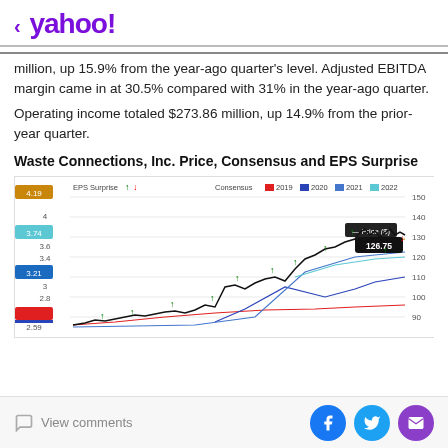< yahoo!
million, up 15.9% from the year-ago quarter's level. Adjusted EBITDA margin came in at 30.5% compared with 31% in the year-ago quarter.
Operating income totaled $273.86 million, up 14.9% from the prior-year quarter.
Waste Connections, Inc. Price, Consensus and EPS Surprise
[Figure (line-chart): Multi-line chart showing Waste Connections stock price and EPS consensus lines for years 2019-2023. Left y-axis shows EPS values (2.59 to 4.19), right y-axis shows price in dollars (70 to 150). Price line shown in black, consensus lines in red (2019), dark blue (2020), blue (2021), light blue (2022), tan (2023). Green up-arrows mark positive EPS surprises. Latest price shown as 126.75.]
View comments